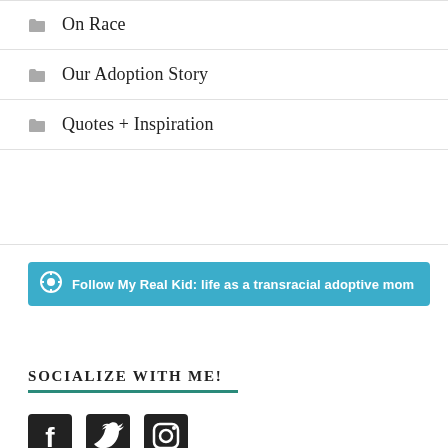On Race
Our Adoption Story
Quotes + Inspiration
[Figure (other): Follow button: Follow My Real Kid: life as a transracial adoptive mom (WordPress follow button, teal background)]
SOCIALIZE WITH ME!
[Figure (other): Social media icons: Facebook, Twitter, Instagram]